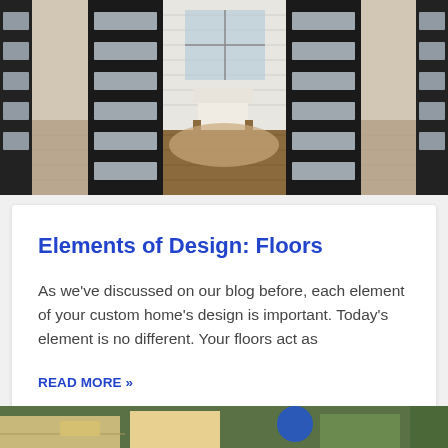[Figure (photo): Interior photo showing dark double doors with horizontal glass panels opened to reveal a living room with a white armchair, wooden floors, and a white shiplap wall with windows in the background.]
Elements of Design: Floors
As we've discussed on our blog before, each element of your custom home's design is important. Today's element is no different. Your floors act as
READ MORE »
[Figure (photo): Partial bottom image showing a construction or home building scene, partially cropped.]